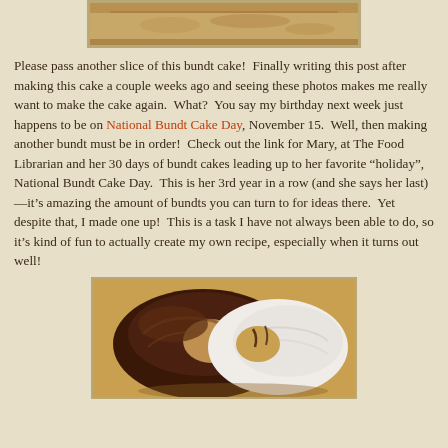[Figure (photo): Top portion of a sliced bundt cake, showing the interior crumb texture, cut off at top of page]
Please pass another slice of this bundt cake!  Finally writing this post after making this cake a couple weeks ago and seeing these photos makes me really want to make the cake again.  What?  You say my birthday next week just happens to be on National Bundt Cake Day, November 15.  Well, then making another bundt must be in order!  Check out the link for Mary, at The Food Librarian and her 30 days of bundt cakes leading up to her favorite “holiday”, National Bundt Cake Day.  This is her 3rd year in a row (and she says her last)—it’s amazing the amount of bundts you can turn to for ideas there.  Yet despite that, I made one up!  This is a task I have not always been able to do, so it’s kind of fun to actually create my own recipe, especially when it turns out well!
[Figure (photo): A bundt cake with dark chocolate glaze on one half and white glaze on the other half, viewed from above at an angle]